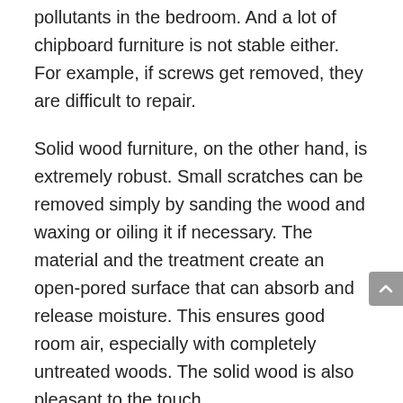pollutants in the bedroom. And a lot of chipboard furniture is not stable either. For example, if screws get removed, they are difficult to repair.
Solid wood furniture, on the other hand, is extremely robust. Small scratches can be removed simply by sanding the wood and waxing or oiling it if necessary. The material and the treatment create an open-pored surface that can absorb and release moisture. This ensures good room air, especially with completely untreated woods. The solid wood is also pleasant to the touch.